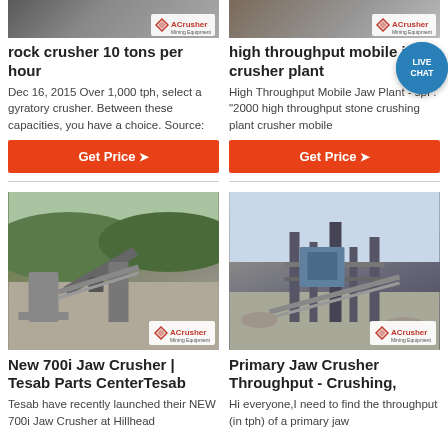[Figure (photo): Rock crusher equipment thumbnail with ACrusher watermark logo]
rock crusher 10 tons per hour
Dec 16, 2015 Over 1,000 tph, select a gyratory crusher. Between these capacities, you have a choice. Source:
Get Price➤
[Figure (photo): High throughput mobile jaw crusher plant thumbnail with ACrusher watermark logo]
high throughput mobile jaw crusher plant
High Throughput Mobile Jaw Plant - spf . "2000 high throughput stone crushing plant crusher mobile
Get Price➤
[Figure (photo): New 700i Jaw Crusher at quarry site with ACrusher watermark logo]
New 700i Jaw Crusher | Tesab Parts CenterTesab
Tesab have recently launched their NEW 700i Jaw Crusher at Hillhead
[Figure (photo): Primary Jaw Crusher at industrial crushing plant with ACrusher watermark logo]
Primary Jaw Crusher Throughput - Crushing,
Hi everyone,I need to find the throughput (in tph) of a primary jaw